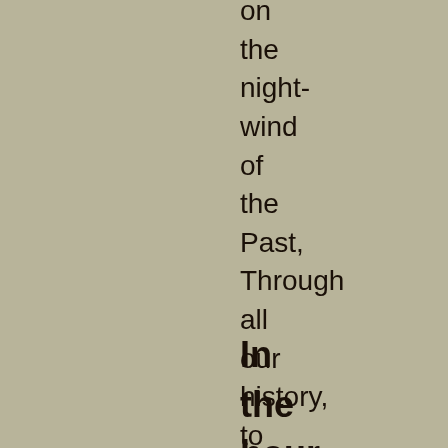on
the
night-
wind
of
the
Past,
Through
all
our
history,
to
the
last,
In
the
hour
of
darkness